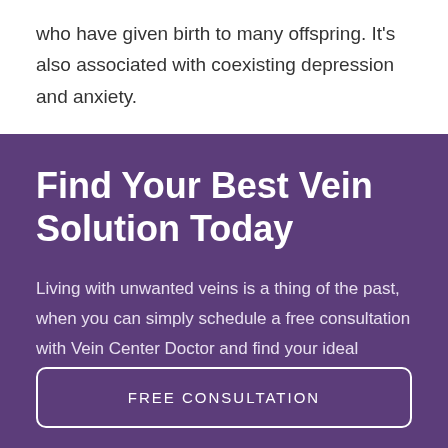who have given birth to many offspring. It's also associated with coexisting depression and anxiety.
Find Your Best Vein Solution Today
Living with unwanted veins is a thing of the past, when you can simply schedule a free consultation with Vein Center Doctor and find your ideal solution today.
FREE CONSULTATION